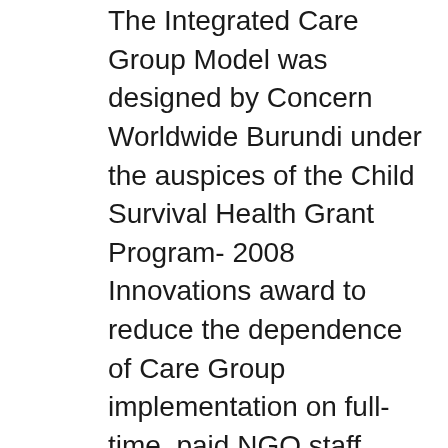The Integrated Care Group Model was designed by Concern Worldwide Burundi under the auspices of the Child Survival Health Grant Program- 2008 Innovations award to reduce the dependence of Care Group implementation on full-time, paid NGO staff, while increasing integration with the local Ministry of Health (MOH) structure. This is accomplished through task shifting of Care Group facilitation and supervision duties from full-time, paid NGO staff to appropriate MOH staff and Community Health Workers (CHWs), while still satisfying the established Care Group Criteria. This Integrate model is being compared to a traditional Care Group Model, in which Care Group Volunteers are trained and supervised by Health Promoters